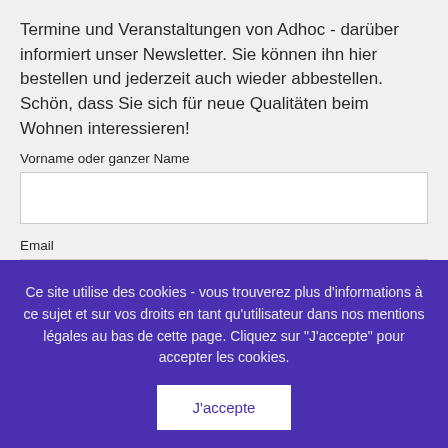Termine und Veranstaltungen von Adhoc - darüber informiert unser Newsletter. Sie können ihn hier bestellen und jederzeit auch wieder abbestellen. Schön, dass Sie sich für neue Qualitäten beim Wohnen interessieren!
Vorname oder ganzer Name
Email
Ce site utilise des cookies - vous trouverez plus d'informations à ce sujet et sur vos droits en tant qu'utilisateur dans nos mentions légales au bas de cette page. Cliquez sur "J'accepte" pour accepter les cookies.
J'accepte